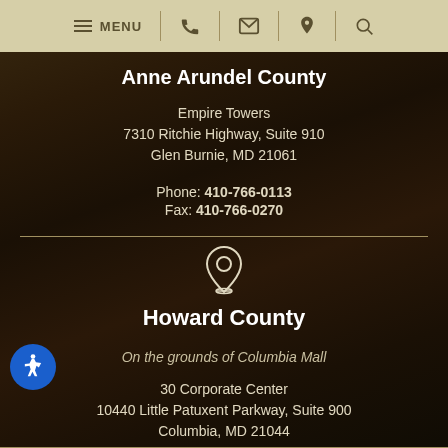MENU
Anne Arundel County
Empire Towers
7310 Ritchie Highway, Suite 910
Glen Burnie, MD 21061
Phone: 410-766-0113
Fax: 410-766-0270
[Figure (illustration): Location pin map icon in white outline]
Howard County
On the grounds of Columbia Mall
30 Corporate Center
10440 Little Patuxent Parkway, Suite 900
Columbia, MD 21044
Phone: 410-964-0050
[Figure (illustration): Wheelchair accessibility icon in blue circle]